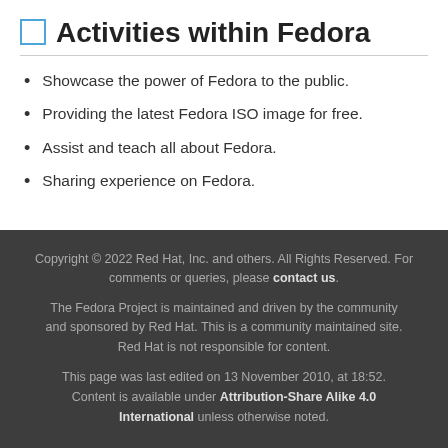Activities within Fedora
Showcase the power of Fedora to the public.
Providing the latest Fedora ISO image for free.
Assist and teach all about Fedora.
Sharing experience on Fedora.
Copyright © 2022 Red Hat, Inc. and others. All Rights Reserved. For comments or queries, please contact us.

The Fedora Project is maintained and driven by the community and sponsored by Red Hat. This is a community maintained site. Red Hat is not responsible for content.

This page was last edited on 13 November 2010, at 18:52. Content is available under Attribution-Share Alike 4.0 International unless otherwise noted.